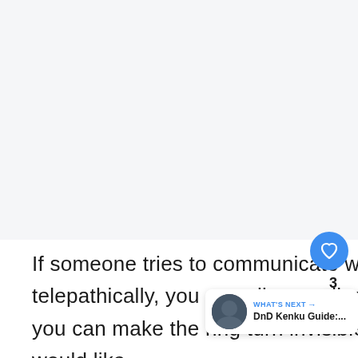[Figure (other): Large light gray placeholder area at the top of the page (image content area)]
If someone tries to communicate with you telepathically, you can allow or disallow it. Moreover, you can make the ring turn invisible when would like.
[Figure (infographic): UI overlay elements: blue heart/like button (3 likes), share button, and a 'WHAT'S NEXT' widget showing 'DnD Kenku Guide:...']